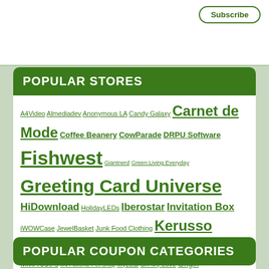Subscribe
POPULAR STORES
A4Video Almediadev Anonymous LA Candy Galaxy Carnet de Mode Coffee Beanery CowParade DRPU Software Fishwest Giantnerd Green Living Everyday Greeting Card Universe HiDownload HolidayLEDs Iberostar Invitation Box iWOWCase JewelBasket Junk Food Clothing Kerusso Lashem Lekusoft LifeCORE Fitness Lighting Buff MMA Joe's My Favorite Pet Shop MyLED Oh My Love Origin Pactimo PandaThemes Paper Culture RanceLab Reallusion Revolution Prep Sheepleg SmartHide STOIK Imaging TackleDirect The Orchid Boutique The Watchery Torrid Violent Lips VitaSprings Wishing Tree Designs
POPULAR COUPON CATEGORIES